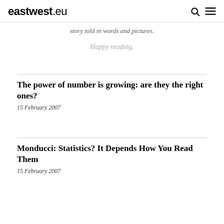eastwest.eu
story told in words and pictures.
Happy reading.
The power of number is growing: are they the right ones?
15 February 2007
Monducci: Statistics? It Depends How You Read Them
15 February 2007